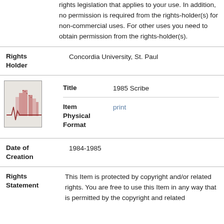rights legislation that applies to your use. In addition, no permission is required from the rights-holder(s) for non-commercial uses. For other uses you need to obtain permission from the rights-holder(s).
| Field | Value |
| --- | --- |
| Rights Holder | Concordia University, St. Paul |
| Title | 1985 Scribe |
| Item Physical Format | print |
| Date of Creation | 1984-1985 |
| Rights Statement | This Item is protected by copyright and/or related rights. You are free to use this Item in any way that is permitted by the copyright and related |